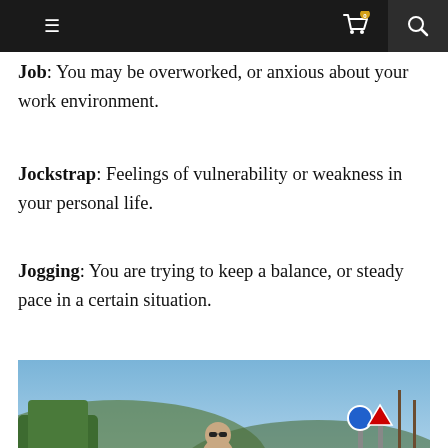Navigation bar with hamburger menu, cart (0), and search icon
Job: You may be overworked, or anxious about your work environment.
Jockstrap: Feelings of vulnerability or weakness in your personal life.
Jogging: You are trying to keep a balance, or steady pace in a certain situation.
[Figure (photo): A shirtless bald man wearing sunglasses and blue shorts jogging on a road, with trees and road signs visible in the background under a blue sky.]